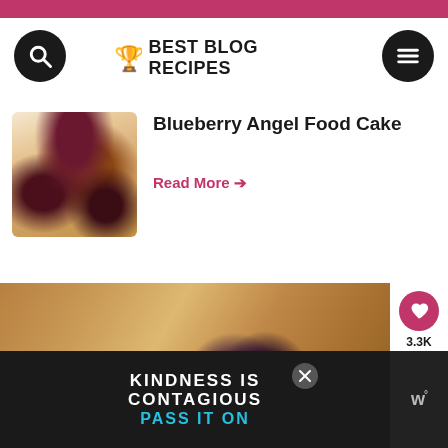Best Blog Recipes
Blueberry Angel Food Cake
Read More →
[Figure (photo): Close-up photo of blueberry pastry/cake with blueberries]
WHAT'S NEXT → Berry Upside Down Cake
KINDNESS IS CONTAGIOUS PASS IT ON